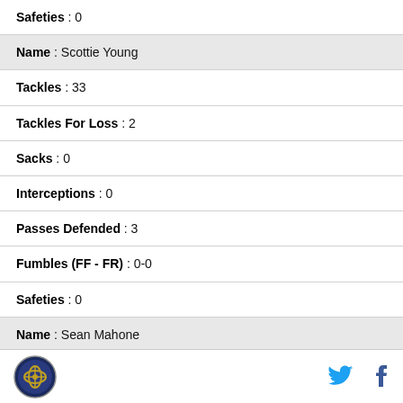Safeties : 0
Name : Scottie Young
Tackles : 33
Tackles For Loss : 2
Sacks : 0
Interceptions : 0
Passes Defended : 3
Fumbles (FF - FR) : 0-0
Safeties : 0
Name : Sean Mahone
Tackles : 81
logo, Twitter, Facebook